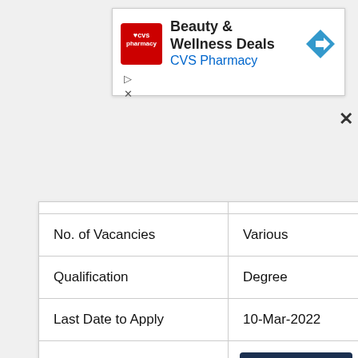[Figure (screenshot): CVS Pharmacy advertisement banner showing 'Beauty & Wellness Deals' with CVS logo and navigation arrow]
| (partial row partially visible) | (partially visible) |
| No. of Vacancies | Various |
| Qualification | Degree |
| Last Date to Apply | 10-Mar-2022 |
|  | Apply Here |
| IISER Kolkata Recruitment |
| --- |
| Post Details | Research Assistant Posts |
| No. of |  |